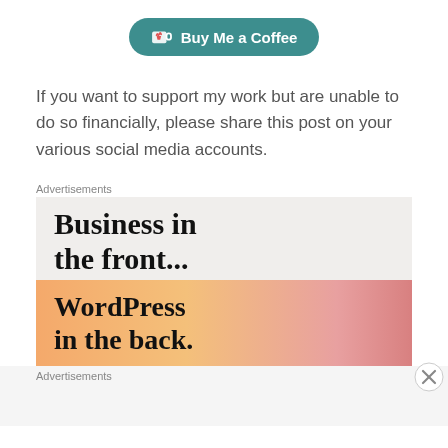[Figure (logo): Buy Me a Coffee button with heart/coffee cup icon on teal rounded pill background]
If you want to support my work but are unable to do so financially, please share this post on your various social media accounts.
Advertisements
[Figure (screenshot): Advertisement banner: top section shows 'Business in the front...' in bold serif on light beige background; bottom section shows 'WordPress in the back.' in bold serif on orange-to-pink gradient background]
Advertisements